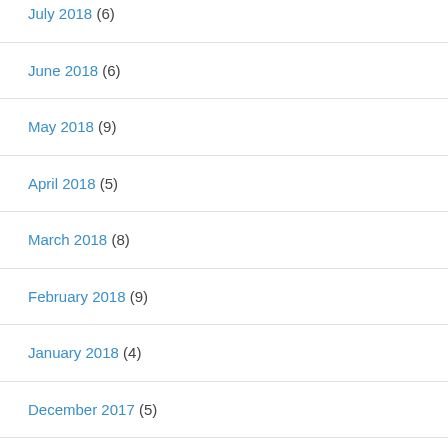July 2018 (6)
June 2018 (6)
May 2018 (9)
April 2018 (5)
March 2018 (8)
February 2018 (9)
January 2018 (4)
December 2017 (5)
November 2017 (3)
October 2017 (13)